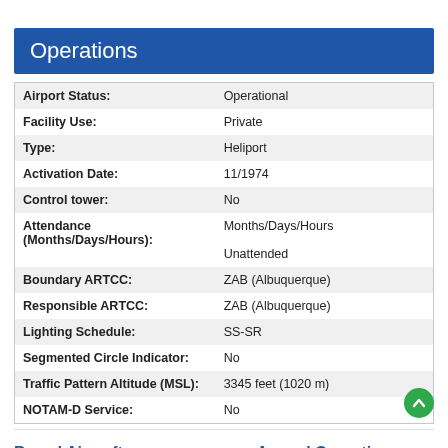Operations
| Field | Value |
| --- | --- |
| Airport Status: | Operational |
| Facility Use: | Private |
| Type: | Heliport |
| Activation Date: | 11/1974 |
| Control tower: | No |
| Attendance (Months/Days/Hours): | Months/Days/Hours
Unattended |
| Boundary ARTCC: | ZAB (Albuquerque) |
| Responsible ARTCC: | ZAB (Albuquerque) |
| Lighting Schedule: | SS-SR |
| Segmented Circle Indicator: | No |
| Traffic Pattern Altitude (MSL): | 3345 feet (1020 m) |
| NOTAM-D Service: | No |
Based Aircraft
Annual Operations (as of